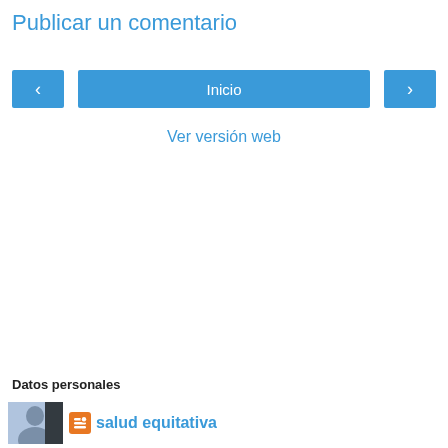Publicar un comentario
‹  Inicio  ›
Ver versión web
Datos personales
salud equitativa